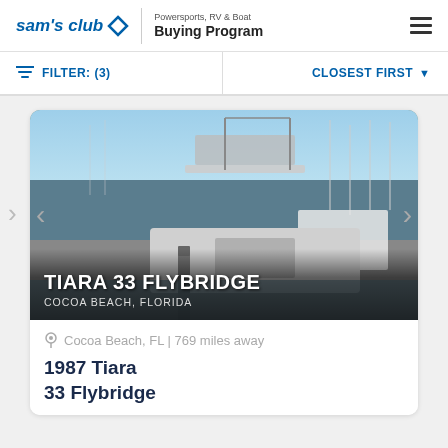sam's club Powersports, RV & Boat Buying Program
FILTER: (3)   CLOSEST FIRST
[Figure (photo): Photo of a 1987 Tiara 33 Flybridge boat docked at a marina in Cocoa Beach, Florida. Multiple boats visible in background. Text overlay reads 'TIARA 33 FLYBRIDGE' and 'COCOA BEACH, FLORIDA'.]
Cocoa Beach, FL | 769 miles away
1987 Tiara
33 Flybridge